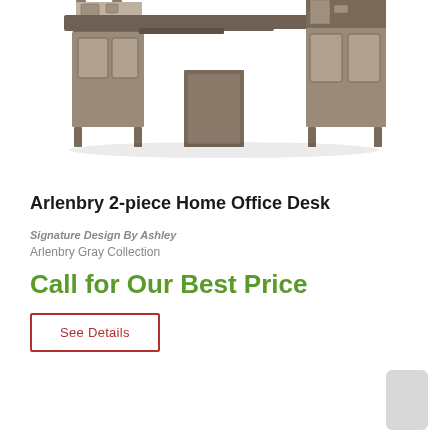[Figure (photo): L-shaped dark gray/brown wooden home office desk with hutch-style storage, open shelves on each end, cabinet doors at the bottom, and a center pedestal. Arlenbry 2-piece desk shown from a 3/4 angle view.]
Arlenbry 2-piece Home Office Desk
Signature Design By Ashley
Arlenbry Gray Collection
Call for Our Best Price
See Details